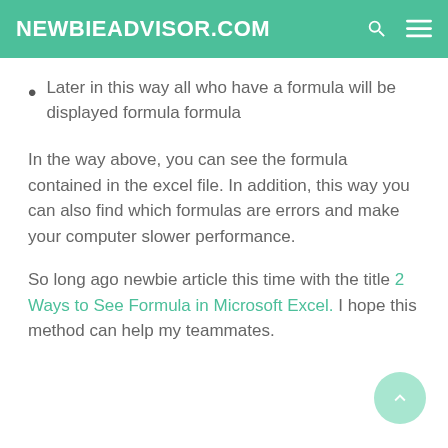NEWBIEADVISOR.COM
Later in this way all who have a formula will be displayed formula formula
In the way above, you can see the formula contained in the excel file. In addition, this way you can also find which formulas are errors and make your computer slower performance.
So long ago newbie article this time with the title 2 Ways to See Formula in Microsoft Excel. I hope this method can help my teammates.